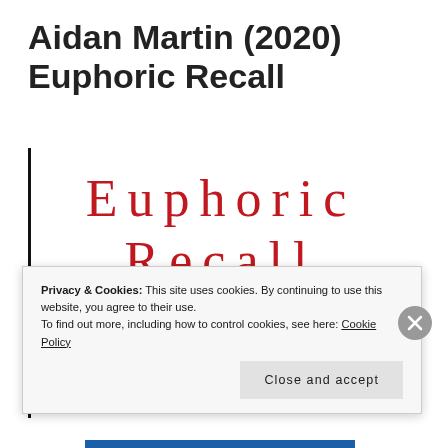Aidan Martin (2020) Euphoric Recall
[Figure (illustration): Book cover for 'Euphoric Recall' showing the title in large spaced red serif lettering over a grey background with a black ink sketch/drawing of a face (eyes and nose visible), with a vertical black line border on the left side.]
Privacy & Cookies: This site uses cookies. By continuing to use this website, you agree to their use. To find out more, including how to control cookies, see here: Cookie Policy
Close and accept